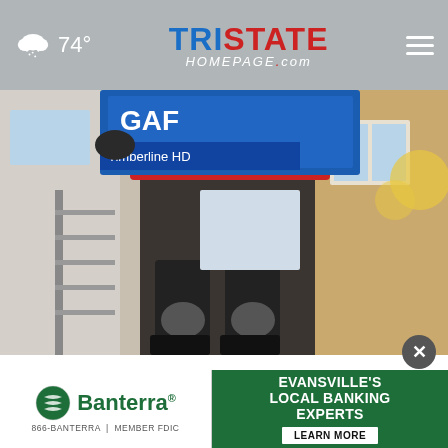74° TristateHomepage.com
[Figure (photo): Person carrying GAF Timberline HD roofing shingles up a ladder on the side of a house]
Sneaky Way Ashburn Homeowners Are Getting Their Old Roof Replaced
Smart Consumer Update
[Figure (photo): Person in protective gear and hairnet looking into water or reflective surface outdoors]
[Figure (infographic): Banterra Bank advertisement: Evansville's Local Banking Experts - LEARN MORE button. 866-BANTERRA | MEMBER FDIC]